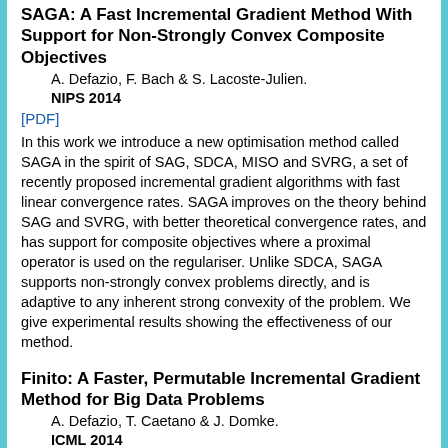SAGA: A Fast Incremental Gradient Method With Support for Non-Strongly Convex Composite Objectives
A. Defazio, F. Bach & S. Lacoste-Julien.
NIPS 2014
[PDF]
In this work we introduce a new optimisation method called SAGA in the spirit of SAG, SDCA, MISO and SVRG, a set of recently proposed incremental gradient algorithms with fast linear convergence rates. SAGA improves on the theory behind SAG and SVRG, with better theoretical convergence rates, and has support for composite objectives where a proximal operator is used on the regulariser. Unlike SDCA, SAGA supports non-strongly convex problems directly, and is adaptive to any inherent strong convexity of the problem. We give experimental results showing the effectiveness of our method.
Finito: A Faster, Permutable Incremental Gradient Method for Big Data Problems
A. Defazio, T. Caetano & J. Domke.
ICML 2014
[PDF] [Appendix]
Recent advances in optimization theory have shown that smooth strongly convex finite sums can be minimized faster than by treating them as a black box "batch" problem. In this work we introduce a new method in this class with a theoretical convergence rate four times faster than existing methods, for sums with sufficiently many terms. This method is also amendable to a sampling without replacement scheme that in practice gives further speed-ups. We give empirical